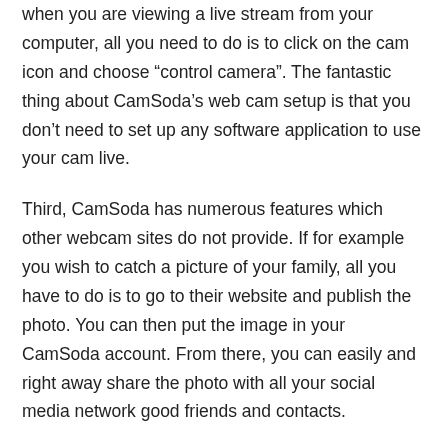when you are viewing a live stream from your computer, all you need to do is to click on the cam icon and choose “control camera”. The fantastic thing about CamSoda’s web cam setup is that you don’t need to set up any software application to use your cam live.
Third, CamSoda has numerous features which other webcam sites do not provide. If for example you wish to catch a picture of your family, all you have to do is to go to their website and publish the photo. You can then put the image in your CamSoda account. From there, you can easily and right away share the photo with all your social media network good friends and contacts.
Furthermore, CamSoda has many more appealing functions compared to other webcam websites. Web cam ladies are always on hand to assist you out if you ever run into any problem throughout your sexual intercourse session.
Finally, if you want a very good camera experience, then you must opt for the premium account in CamSoda. With a premium account